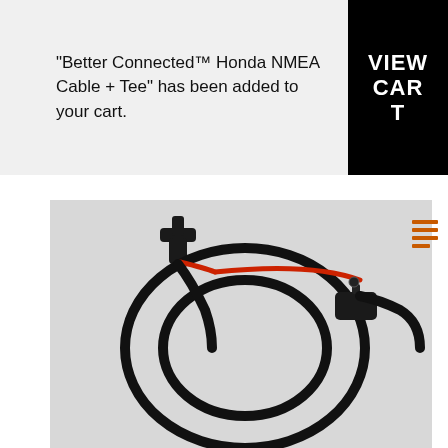"Better Connected™ Honda NMEA Cable + Tee" has been added to your cart.
VIEW CART
[Figure (photo): Photo of a Honda NMEA Cable + Tee product — black cable coiled in a loop with a T-shaped connector at one end and a red wire visible, along with a black protective cover/fuse holder, on a light grey background.]